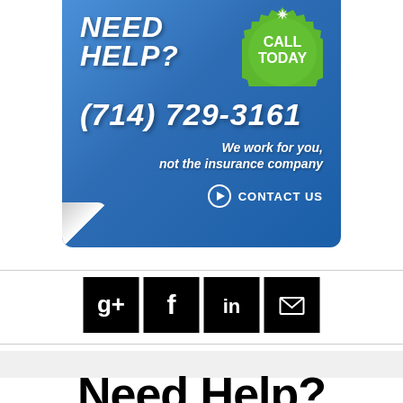[Figure (infographic): Blue banner advertisement with 'NEED HELP?' text, green starburst badge with 'CALL TODAY', phone number (714) 729-3161, tagline 'We work for you, not the insurance company', and 'CONTACT US' button with arrow icon. Banner has page curl effect at bottom-left.]
[Figure (infographic): Row of four social media icon buttons (Google+, Facebook, LinkedIn, Email/envelope) in black square tiles]
Need Help?